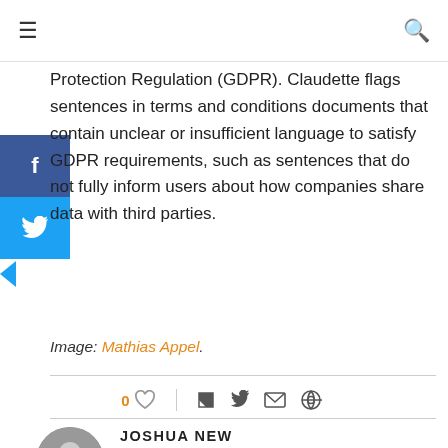≡  🔍
Protection Regulation (GDPR). Claudette flags sentences in terms and conditions documents that contain unclear or insufficient language to satisfy GDPR requirements, such as sentences that do not fully inform users about how companies share data with third parties.
Image: Mathias Appel.
0 ♡  |  f  t  ⊕  ✉
JOSHUA NEW
Joshua New was a senior policy analyst at the